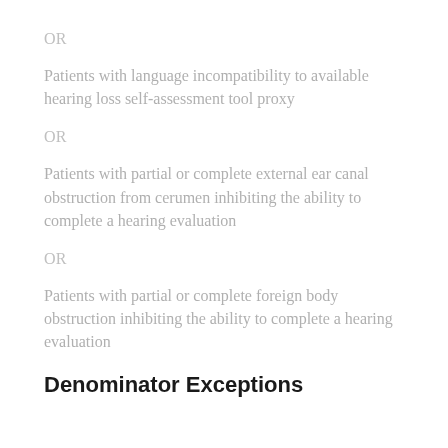OR
Patients with language incompatibility to available hearing loss self-assessment tool proxy
OR
Patients with partial or complete external ear canal obstruction from cerumen inhibiting the ability to complete a hearing evaluation
OR
Patients with partial or complete foreign body obstruction inhibiting the ability to complete a hearing evaluation
Denominator Exceptions